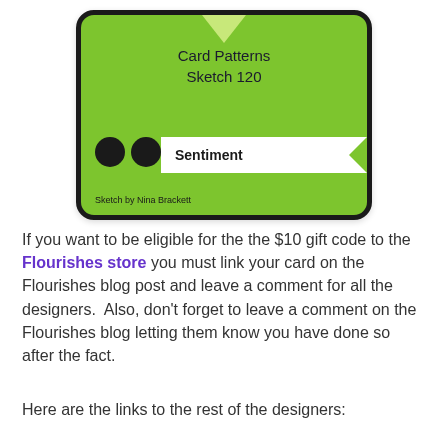[Figure (illustration): Card Patterns Sketch 120 design card on green background with three black circles and a Sentiment banner. Sketch by Nina Brackett.]
If you want to be eligible for the the $10 gift code to the Flourishes store you must link your card on the Flourishes blog post and leave a comment for all the designers.  Also, don't forget to leave a comment on the Flourishes blog letting them know you have done so after the fact.
Here are the links to the rest of the designers: